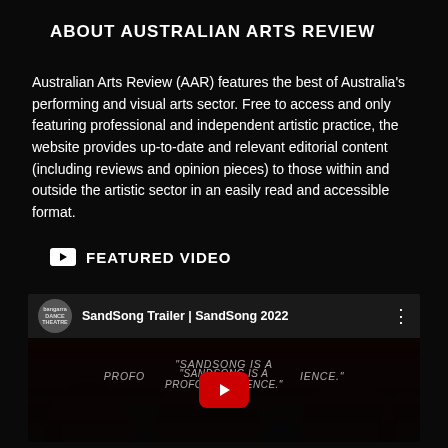ABOUT AUSTRALIAN ARTS REVIEW
Australian Arts Review (AAR) features the best of Australia's performing and visual arts sector. Free to access and only featuring professional and independent artistic practice, the website provides up-to-date and relevant editorial content (including reviews and opinion pieces) to those within and outside the artistic sector in an easily read and accessible format.
FEATURED VIDEO
[Figure (screenshot): Embedded YouTube video preview showing 'SandSong Trailer | SandSong 2022' with Bangarra Dance Theatre channel avatar, red YouTube play button, and dark background with silhouetted figures and text overlay reading 'SANDSONG IS A PROFOUND EXPERIENCE.']